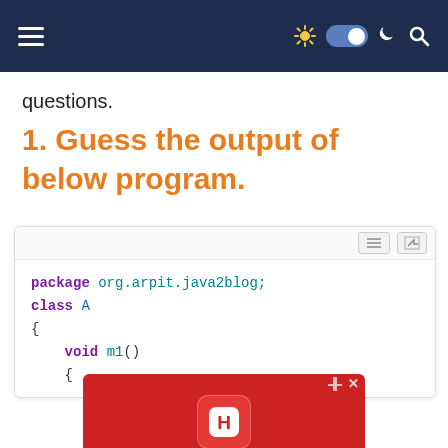Navigation bar with hamburger menu, theme toggle, and search icon
questions.
1. Guess the output of below program.
[Figure (screenshot): Code block showing Java code: package org.arpit.java2blog; class A { void m1() {]
[Figure (screenshot): Hotels.com advertisement banner with red background, Hotels.com logo, and BOOK NOW button]